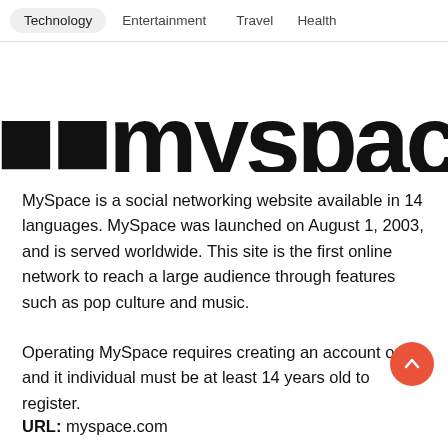Technology  Entertainment  Travel  Health
[Figure (logo): MySpace logo in large bold black text, partially cropped at top]
MySpace is a social networking website available in 14 languages. MySpace was launched on August 1, 2003, and is served worldwide. This site is the first online network to reach a large audience through features such as pop culture and music.
Operating MySpace requires creating an account on it and it individual must be at least 14 years old to register.
URL: myspace.com